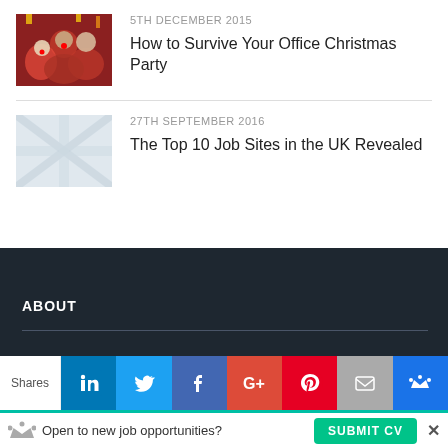5TH DECEMBER 2015
How to Survive Your Office Christmas Party
[Figure (photo): People celebrating at an office Christmas party with red noses and festive decorations]
27TH SEPTEMBER 2016
The Top 10 Job Sites in the UK Revealed
[Figure (photo): UK flag themed image, blurred/faded]
ABOUT
Shares
Open to new job opportunities?
SUBMIT CV
×